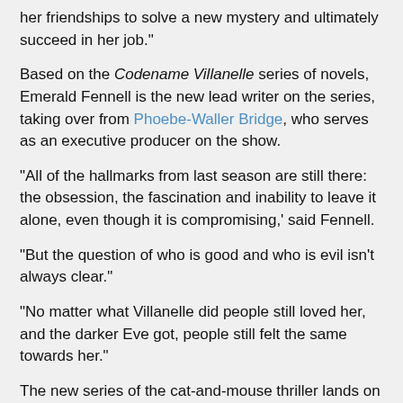her friendships to solve a new mystery and ultimately succeed in her job."
Based on the Codename Villanelle series of novels, Emerald Fennell is the new lead writer on the series, taking over from Phoebe-Waller Bridge, who serves as an executive producer on the show.
"All of the hallmarks from last season are still there: the obsession, the fascination and inability to leave it alone, even though it is compromising,' said Fennell.
"But the question of who is good and who is evil isn't always clear."
"No matter what Villanelle did people still loved her, and the darker Eve got, people still felt the same towards her."
The new series of the cat-and-mouse thriller lands on BBC iPlayer on June 8th, and the first episode will air on BBC One at 9:15pm that evening..
Now one of the BBC's most popular shows on iPlayer, Killing Eve has received over 49 million requests on the service.
The BBC also announced the acquisition of the rights to the third